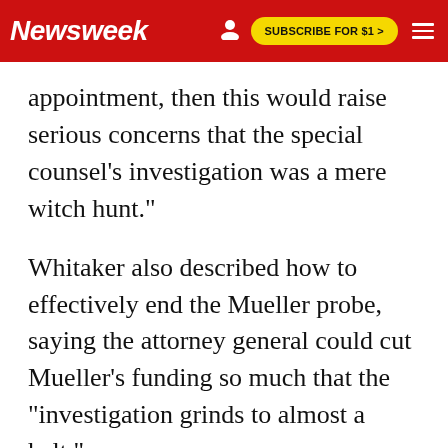Newsweek — SUBSCRIBE FOR $1 >
appointment, then this would raise serious concerns that the special counsel's investigation was a mere witch hunt."
Whitaker also described how to effectively end the Mueller probe, saying the attorney general could cut Mueller's funding so much that the "investigation grinds to almost a halt."